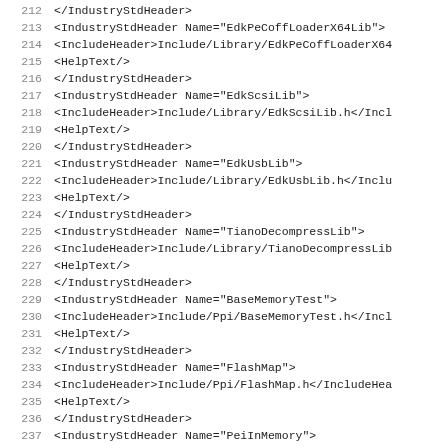XML source code listing, lines 212-243, showing IndustryStdHeader XML elements with IncludeHeader and HelpText child elements for various EDK/EFI libraries and PPIs including EdkPeCoffLoaderX64Lib, EdkScsiLib, EdkUsbLib, TianoDecompressLib, BaseMemoryTest, FlashMap, PeiInMemory, and StatusCodeMemory.